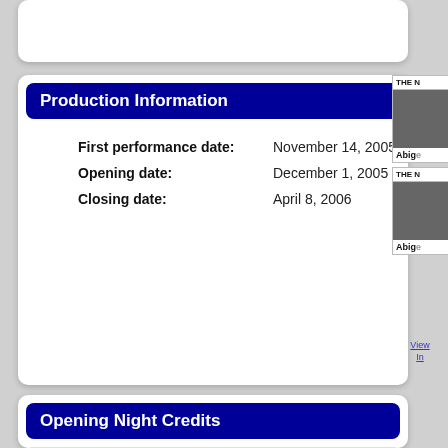Production Information
First performance date: November 14, 2005
Opening date: December 1, 2005
Closing date: April 8, 2006
[Figure (photo): Two sidebar thumbnail images labeled 'THE N' with caption 'Abige' each]
View Images In
Opening Night Credits
Production Credits